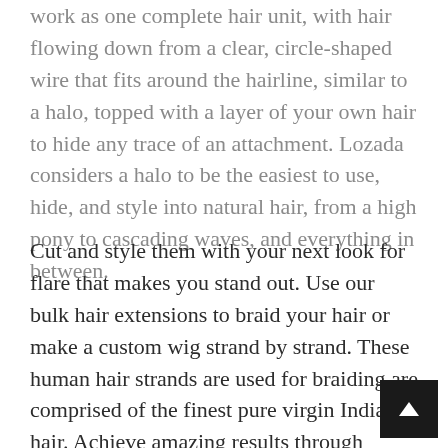work as one complete hair unit, with hair flowing down from a clear, circle-shaped wire that fits around the hairline, similar to a halo, topped with a layer of your own hair to hide any trace of an attachment. Lozada considers a halo to be the easiest to use, hide, and style into natural hair, from a high pony to cascading waves, and everything in between.
Cut and style them with your next look for flare that makes you stand out. Use our bulk hair extensions to braid your hair or make a custom wig strand by strand. These human hair strands are used for braiding are comprised of the finest pure virgin Indian hair. Achieve amazing results through braids or your next hair project. Solve your hair loss or hair thinning dilem with our hair topper integration pieces that are c